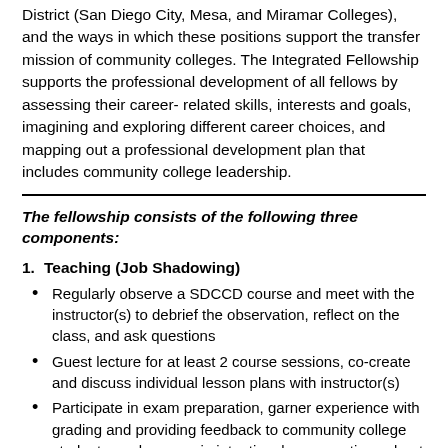District (San Diego City, Mesa, and Miramar Colleges), and the ways in which these positions support the transfer mission of community colleges. The Integrated Fellowship supports the professional development of all fellows by assessing their career-related skills, interests and goals, imagining and exploring different career choices, and mapping out a professional development plan that includes community college leadership.
The fellowship consists of the following three components:
1. Teaching (Job Shadowing)
Regularly observe a SDCCD course and meet with the instructor(s) to debrief the observation, reflect on the class, and ask questions
Guest lecture for at least 2 course sessions, co-create and discuss individual lesson plans with instructor(s)
Participate in exam preparation, garner experience with grading and providing feedback to community college students, and engage in intentional conversations about